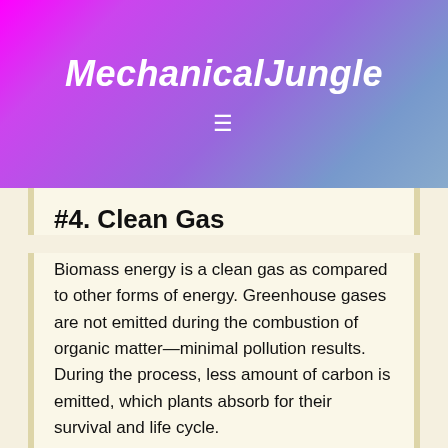MechanicalJungle
#4. Clean Gas
Biomass energy is a clean gas as compared to other forms of energy. Greenhouse gases are not emitted during the combustion of organic matter—minimal pollution results. During the process, less amount of carbon is emitted, which plants absorb for their survival and life cycle.